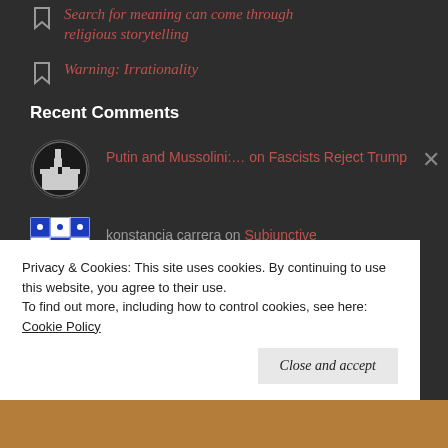Search for meaning can come through religious storytelling
Warning: Irrationality
Recent Comments
Putin and Mussolini:… on Fascists Reject Trump
[Figure (illustration): Circular black and white icon with cathedral/building silhouette]
konstancja carrera on Subjunctive
[Figure (illustration): Blue and white geometric quilt-pattern avatar]
Heshi on Search for meaning can come
[Figure (photo): Small photo of a person (Heshi)]
Privacy & Cookies: This site uses cookies. By continuing to use this website, you agree to their use.
To find out more, including how to control cookies, see here:
Cookie Policy
Close and accept